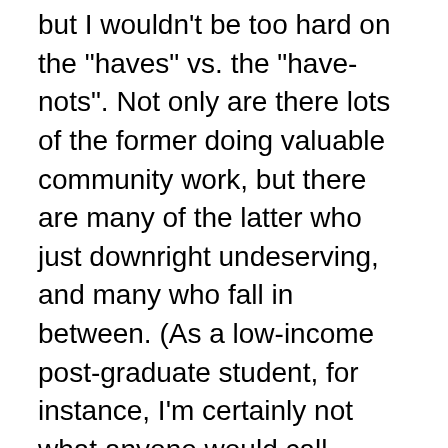but I wouldn't be too hard on the "haves" vs. the "have-nots". Not only are there lots of the former doing valuable community work, but there are many of the latter who just downright undeserving, and many who fall in between. (As a low-income post-graduate student, for instance, I'm certainly not what anyone would call wealthy, yet my education suggests I've had more opportunity than others). A word of caution: The wealthy are not inherently evil or dispossessing, and the poor are not inherently good.
". . .but as usual people like you are quite daft and fall for the propoganada."